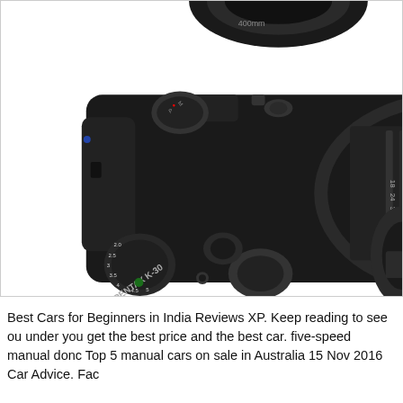[Figure (photo): Top-down view of a Pentax K-30 DSLR camera with lens attached, showing control dials and body details. Partial view of another camera lens at top and partial camera at bottom-right.]
Best Cars for Beginners in India Reviews XP. Keep reading to see ou under you get the best price and the best car. five-speed manual donc Top 5 manual cars on sale in Australia 15 Nov 2016 Car Advice. Fac